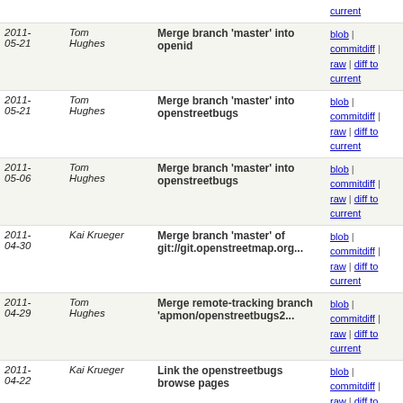| Date | Author | Commit message | Links |
| --- | --- | --- | --- |
| 2011-05-21 | Tom Hughes | Merge branch 'master' into openid | blob | commitdiff | raw | diff to current |
| 2011-05-21 | Tom Hughes | Merge branch 'master' into openstreetbugs | blob | commitdiff | raw | diff to current |
| 2011-05-06 | Tom Hughes | Merge branch 'master' into openstreetbugs | blob | commitdiff | raw | diff to current |
| 2011-04-30 | Kai Krueger | Merge branch 'master' of git://git.openstreetmap.org... | blob | commitdiff | raw | diff to current |
| 2011-04-29 | Tom Hughes | Merge remote-tracking branch 'apmon/openstreetbugs2... | blob | commitdiff | raw | diff to current |
| 2011-04-22 | Kai Krueger | Link the openstreetbugs browse pages | blob | commitdiff | raw | diff to current |
| 2011-04-20 | Tom Hughes | Merge branch 'master' into openstreetbugs | blob | commitdiff | raw | diff to current |
| 2011-04-20 | Kai Krueger | Merge branch 'master' into openstreetbugs2 | blob | commitdiff | raw | diff to current |
| 2011-04-03 | Harry Wood | fixes trac.openstreetmap.org/ticket/3645 . Can now... | blob | commitdiff | raw | diff to current |
| 2010-05-07 | Tom Hughes | Merge branch 'master' into openstreetbugs | blob | commitdiff | raw | diff to current |